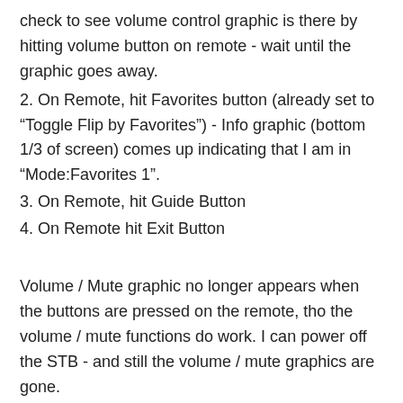check to see volume control graphic is there by hitting volume button on remote - wait until the graphic goes away.
2. On Remote, hit Favorites button (already set to "Toggle Flip by Favorites") - Info graphic (bottom 1/3 of screen) comes up indicating that I am in "Mode:Favorites 1".
3. On Remote, hit Guide Button
4. On Remote hit Exit Button
Volume / Mute graphic no longer appears when the buttons are pressed on the remote, tho the volume / mute functions do work. I can power off the STB - and still the volume / mute graphics are gone.
To fix:
1. On Remote, hit "Go Back" Button / Wait for...